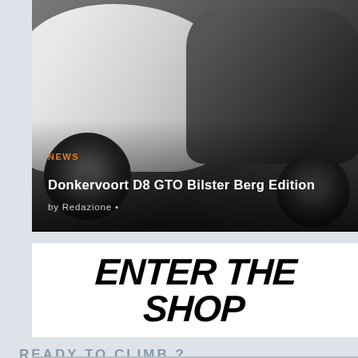[Figure (photo): Photo of Donkervoort D8 GTO sports car, white on left and dark on right, with large off-road tires, in a garage setting]
NEWS
Donkervoort D8 GTO Bilster Berg Edition
by Redazione •
[Figure (illustration): White banner advertisement with bold black italic text reading ENTER THE SHOP]
READY TO CLIMB ?
[Figure (photo): Partial photo of a road through green forest with text COL DE TURINI TOUR partially visible]